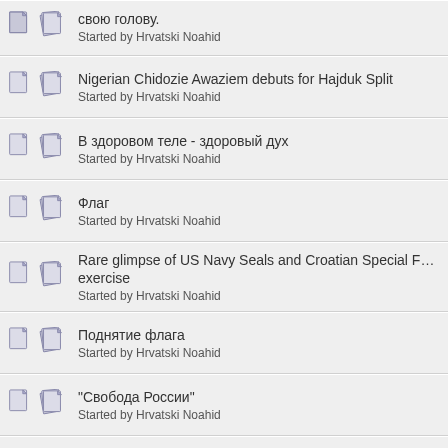свою голову.
Started by Hrvatski Noahid
Nigerian Chidozie Awaziem debuts for Hajduk Split
Started by Hrvatski Noahid
В здоровом теле - здоровый дух
Started by Hrvatski Noahid
Флаг
Started by Hrvatski Noahid
Rare glimpse of US Navy Seals and Croatian Special Forces on joint exercise
Started by Hrvatski Noahid
Поднятие флага
Started by Hrvatski Noahid
"Свобода России"
Started by Hrvatski Noahid
Porec Tourism Booming as 2 Million Overnight Stays Achieved Early
Started by Hrvatski Noahid
Croatia Celebrating Victory and Homeland Thanksgiving Day
Started by Hrvatski Noahid